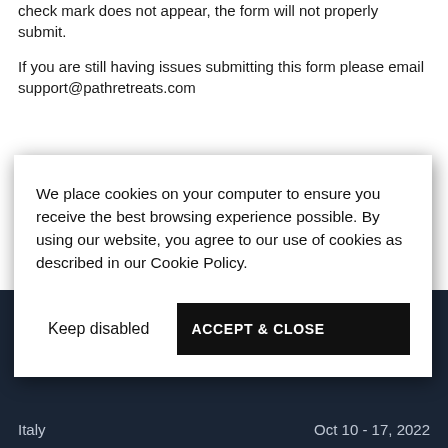check mark does not appear, the form will not properly submit.
If you are still having issues submitting this form please email support@pathretreats.com
We place cookies on your computer to ensure you receive the best browsing experience possible. By using our website, you agree to our use of cookies as described in our Cookie Policy.
Keep disabled
ACCEPT & CLOSE
Italy    Oct 10 - 17, 2022